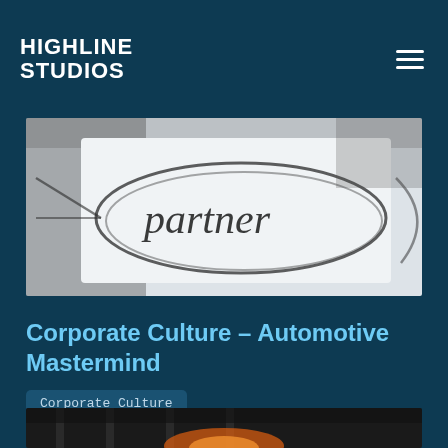HIGHLINE STUDIOS
[Figure (photo): White paper with the word 'partner' written in handwriting, circled with a hand-drawn oval. Background is blurred with dark tones.]
Corporate Culture - Automotive Mastermind
Corporate Culture
[Figure (photo): Partial view of a dark automotive scene with orange/flame tones at the bottom, appearing to be a car engine or mechanical component.]